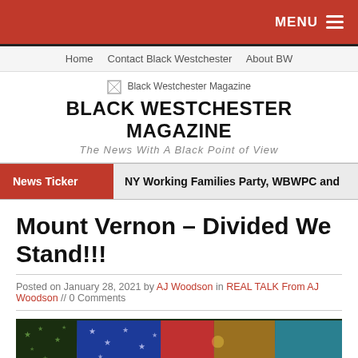MENU
Home   Contact Black Westchester   About BW
BLACK WESTCHESTER MAGAZINE
The News With A Black Point of View
News Ticker   NY Working Families Party, WBWPC and
Mount Vernon – Divided We Stand!!!
Posted on January 28, 2021 by AJ Woodson in REAL TALK From AJ Woodson // 0 Comments
[Figure (photo): Colorful composite American flag image with stars, divided into color blocks, with text 'DIVIDED WE STAND' overlaid at the bottom]